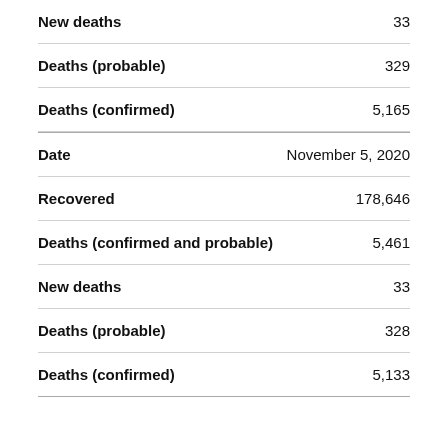New deaths  33
Deaths (probable)  329
Deaths (confirmed)  5,165
Date  November 5, 2020
Recovered  178,646
Deaths (confirmed and probable)  5,461
New deaths  33
Deaths (probable)  328
Deaths (confirmed)  5,133